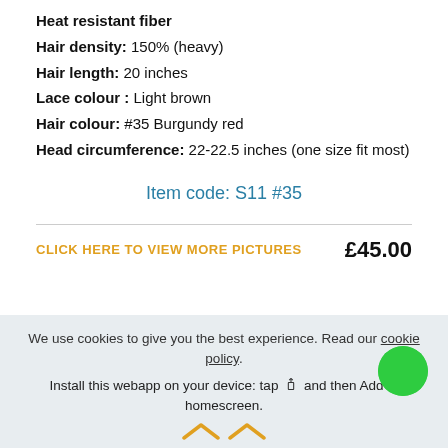Heat resistant fiber
Hair density: 150% (heavy)
Hair length: 20 inches
Lace colour : Light brown
Hair colour: #35 Burgundy red
Head circumference: 22-22.5 inches (one size fit most)
Item code: S11 #35
CLICK HERE TO VIEW MORE PICTURES    £45.00
We use cookies to give you the best experience. Read our cookie policy.
Install this webapp on your device: tap and then Add to homescreen.